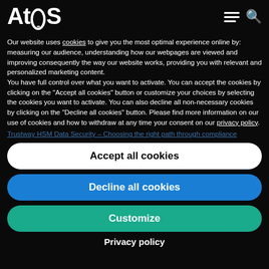Atos
Our website uses cookies to give you the most optimal experience online by: measuring our audience, understanding how our webpages are viewed and improving consequently the way our website works, providing you with relevant and personalized marketing content.
You have full control over what you want to activate. You can accept the cookies by clicking on the "Accept all cookies" button or customize your choices by selecting the cookies you want to activate. You can also decline all non-necessary cookies by clicking on the "Decline all cookies" button. Please find more information on our use of cookies and how to withdraw at any time your consent on our privacy policy.
Trustway HSM Data Security – Choosing the right path through compliance
Accept all cookies
Decline all cookies
Customize
Privacy policy